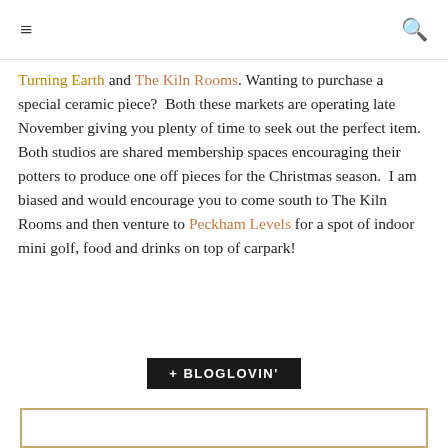≡  🔍
Turning Earth and The Kiln Rooms. Wanting to purchase a special ceramic piece?  Both these markets are operating late November giving you plenty of time to seek out the perfect item.  Both studios are shared membership spaces encouraging their potters to produce one off pieces for the Christmas season.  I am biased and would encourage you to come south to The Kiln Rooms and then venture to Peckham Levels for a spot of indoor mini golf, food and drinks on top of carpark!
[Figure (logo): Bloglovin follow button with black background and white text reading '+ BLOGLOVIN'']
[Figure (other): Partial gold/tan border frame at bottom of page]